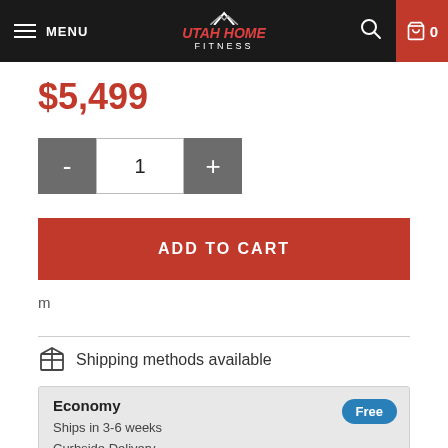MENU | Utah Home Fitness | 0
$5,499
1
ADD TO CART
m
Shipping methods available
| Method | Details | Price |
| --- | --- | --- |
| Economy | Ships in 3-6 weeks
Curbside Delivery | Free |
| Delivery & Assembly | Ships in 3-6 weeks | $349 |